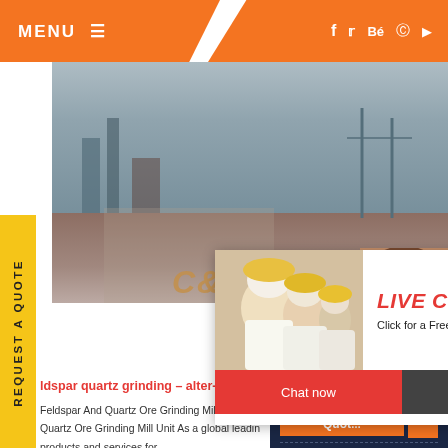MENU ≡
[Figure (screenshot): Website screenshot showing a construction/mining company page with orange header, MENU button, social media icons (f, Twitter, Bé, Pinterest, YouTube), main hero image of construction workers in yellow hard hats at a mining site]
REQUEST A QUOTE
[Figure (photo): Live Chat popup overlay showing workers in yellow hard hats, with LIVE CHAT title in red italic, 'Click for a Free Consultation' text, Chat now (red) and Chat later (dark) buttons]
[Figure (photo): Customer service representative photo - woman with headset smiling, shown in right panel with close X button]
Have any requests, click here.
Quote
Enquiry
drobilkalm
ldspar quartz grinding - alter-fritz-in-polle
Feldspar And Quartz Ore Grinding Mill Unit - X
Quartz Ore Grinding Mill Unit As a global leadin
products and services for ...